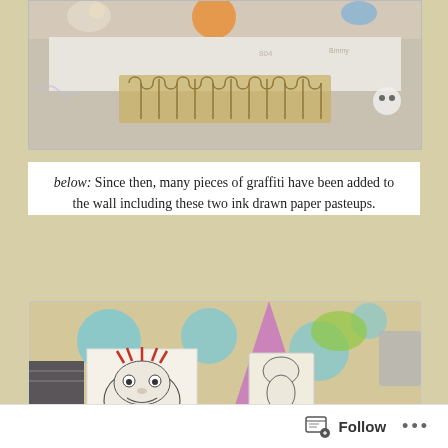[Figure (photo): Photograph of a building wall covered with colorful graffiti murals featuring cartoon characters, with a white architectural element and ornate iron window grate visible in the lower portion.]
below: Since then, many pieces of graffiti have been added to the wall including these two ink drawn paper pasteups.
[Figure (photo): Close-up photograph of two ink-drawn paper pasteups being held up against a colorful graffiti mural wall featuring circular bubble designs with cartoon characters.]
Follow ...